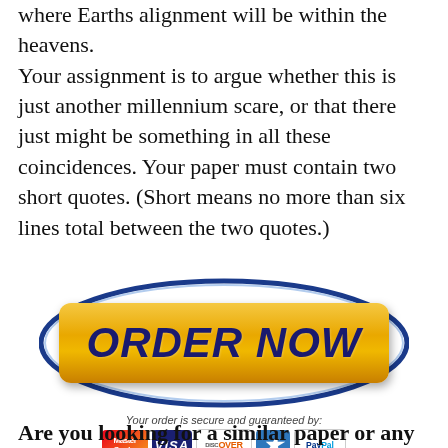where Earths alignment will be within the heavens. Your assignment is to argue whether this is just another millennium scare, or that there just might be something in all these coincidences. Your paper must contain two short quotes. (Short means no more than six lines total between the two quotes.)
[Figure (other): ORDER NOW button with blue oval background, payment icons (MasterCard, VISA, DISCOVER, American Express, PayPal), and text 'Your order is secure and guaranteed by:']
Are you looking for a similar paper or any